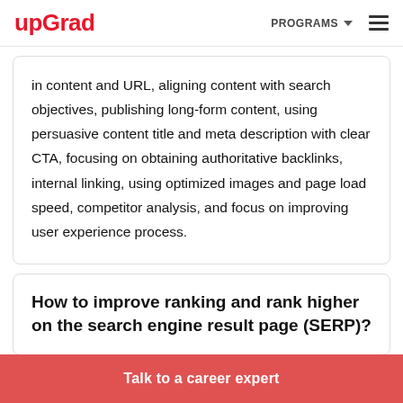upGrad | PROGRAMS
in content and URL, aligning content with search objectives, publishing long-form content, using persuasive content title and meta description with clear CTA, focusing on obtaining authoritative backlinks, internal linking, using optimized images and page load speed, competitor analysis, and focus on improving user experience process.
How to improve ranking and rank higher on the search engine result page (SERP)?
Talk to a career expert